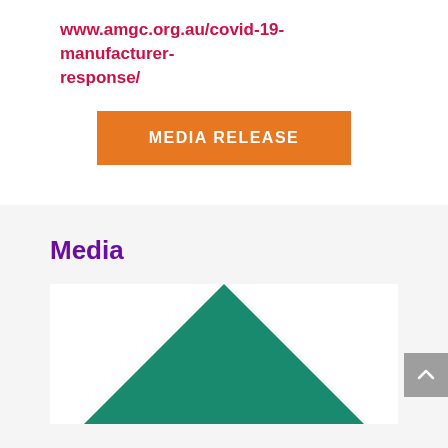www.amgc.org.au/covid-19-manufacturer-response/
MEDIA RELEASE
Media
[Figure (illustration): Green triangle / mountain shape logo partially visible in a white card]